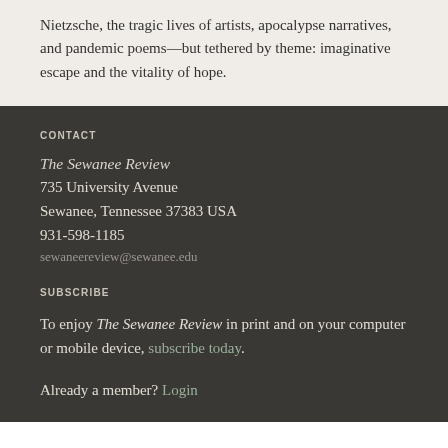Nietzsche, the tragic lives of artists, apocalypse narratives, and pandemic poems—but tethered by theme: imaginative escape and the vitality of hope.
CONTACT
The Sewanee Review
735 University Avenue
Sewanee, Tennessee 37383 USA
931-598-1185
sewaneereview@sewanee.edu
SUBSCRIBE
To enjoy The Sewanee Review in print and on your computer or mobile device, subscribe today.
Already a member? Login